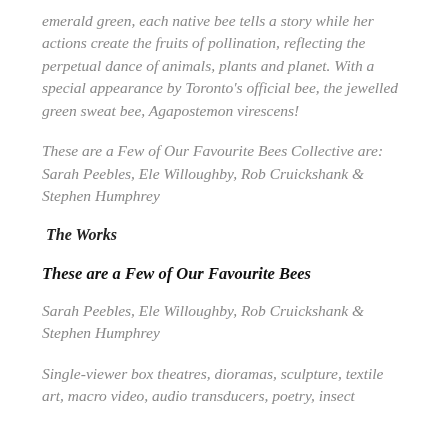emerald green, each native bee tells a story while her actions create the fruits of pollination, reflecting the perpetual dance of animals, plants and planet. With a special appearance by Toronto's official bee, the jewelled green sweat bee, Agapostemon virescens!
These are a Few of Our Favourite Bees Collective are: Sarah Peebles, Ele Willoughby, Rob Cruickshank & Stephen Humphrey
The Works
These are a Few of Our Favourite Bees
Sarah Peebles, Ele Willoughby, Rob Cruickshank & Stephen Humphrey
Single-viewer box theatres, dioramas, sculpture, textile art, macro video, audio transducers, poetry, insect